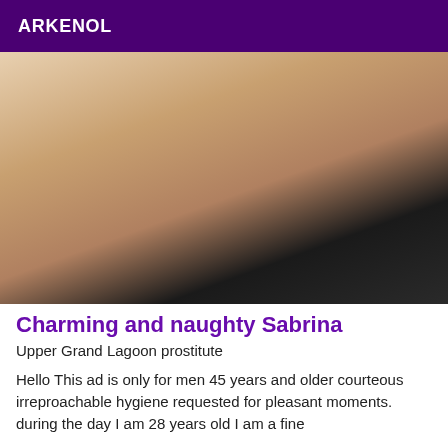ARKENOL
[Figure (photo): Close-up photo]
Charming and naughty Sabrina
Upper Grand Lagoon prostitute
Hello This ad is only for men 45 years and older courteous irreproachable hygiene requested for pleasant moments. during the day I am 28 years old I am a fine